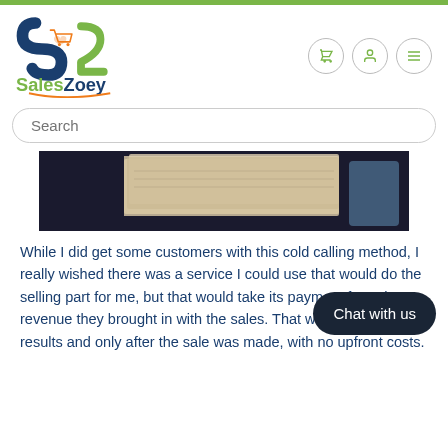[Figure (logo): SalesZoey logo with S2 icon and shopping cart, green and blue text]
[Figure (photo): Close-up of a stack of papers or folders on a dark surface]
While I did get some customers with this cold calling method, I really wished there was a service I could use that would do the selling part for me, but that would take its payment from the revenue they brought in with the sales. That way I only paid for results and only after the sale was made, with no upfront costs.